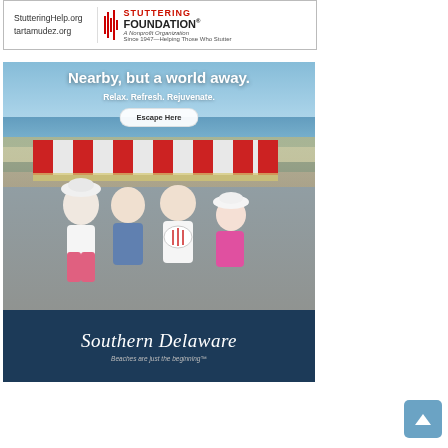[Figure (illustration): Stuttering Foundation advertisement banner showing logo with red bar, organization name, website URLs StutteringHelp.org and tartamudez.org, and tagline 'A Nonprofit Organization Since 1947 — Helping Those Who Stutter']
[Figure (photo): Southern Delaware tourism advertisement showing a family riding a surrey bike on a beach boardwalk. Text reads 'Nearby, but a world away. Relax. Refresh. Rejuvenate.' with 'Escape Here' button. Footer shows 'Southern Delaware - Beaches are just the beginning' logo on dark blue background.]